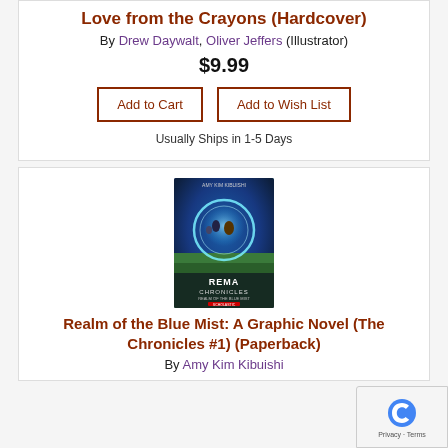Love from the Crayons (Hardcover)
By Drew Daywalt, Oliver Jeffers (Illustrator)
$9.99
Add to Cart
Add to Wish List
Usually Ships in 1-5 Days
[Figure (photo): Book cover of Realm of the Blue Mist: A Graphic Novel (The Rema Chronicles #1) showing illustrated characters with a glowing blue portal]
Realm of the Blue Mist: A Graphic Novel (The Chronicles #1) (Paperback)
By Amy Kim Kibuishi